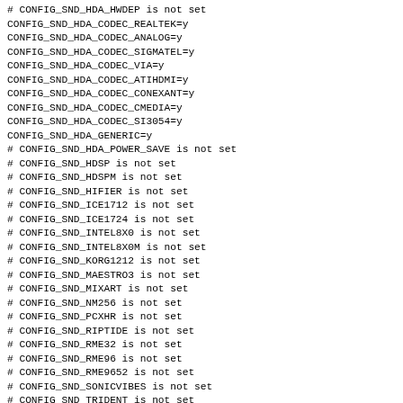# CONFIG_SND_HDA_HWDEP is not set
CONFIG_SND_HDA_CODEC_REALTEK=y
CONFIG_SND_HDA_CODEC_ANALOG=y
CONFIG_SND_HDA_CODEC_SIGMATEL=y
CONFIG_SND_HDA_CODEC_VIA=y
CONFIG_SND_HDA_CODEC_ATIHDMI=y
CONFIG_SND_HDA_CODEC_CONEXANT=y
CONFIG_SND_HDA_CODEC_CMEDIA=y
CONFIG_SND_HDA_CODEC_SI3054=y
CONFIG_SND_HDA_GENERIC=y
# CONFIG_SND_HDA_POWER_SAVE is not set
# CONFIG_SND_HDSP is not set
# CONFIG_SND_HDSPM is not set
# CONFIG_SND_HIFIER is not set
# CONFIG_SND_ICE1712 is not set
# CONFIG_SND_ICE1724 is not set
# CONFIG_SND_INTEL8X0 is not set
# CONFIG_SND_INTEL8X0M is not set
# CONFIG_SND_KORG1212 is not set
# CONFIG_SND_MAESTRO3 is not set
# CONFIG_SND_MIXART is not set
# CONFIG_SND_NM256 is not set
# CONFIG_SND_PCXHR is not set
# CONFIG_SND_RIPTIDE is not set
# CONFIG_SND_RME32 is not set
# CONFIG_SND_RME96 is not set
# CONFIG_SND_RME9652 is not set
# CONFIG_SND_SONICVIBES is not set
# CONFIG_SND_TRIDENT is not set
# CONFIG_SND_VIA82XX is not set
# CONFIG_SND_VIA82XX_MODEM is not set